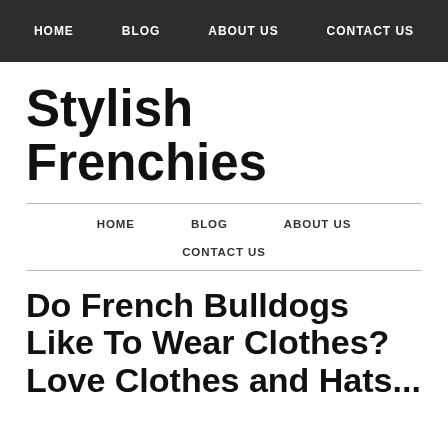HOME  BLOG  ABOUT US  CONTACT US
Stylish Frenchies
HOME  BLOG  ABOUT US  CONTACT US
Do French Bulldogs Like To Wear Clothes? Love Clothes and Hats...